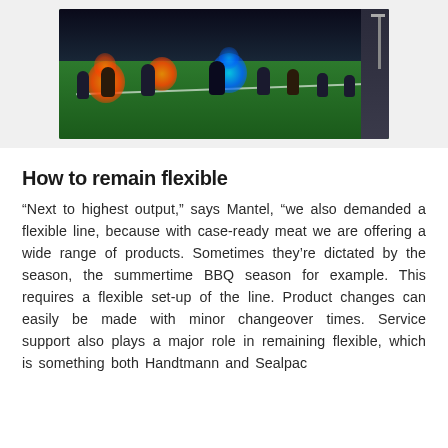[Figure (photo): A stylized sports scene showing players on a green field with orange fire and blue energy effects, set against a dark night background. Players appear to be playing a fantasy/sci-fi football game.]
How to remain flexible
“Next to highest output,” says Mantel, “we also demanded a flexible line, because with case-ready meat we are offering a wide range of products. Sometimes they’re dictated by the season, the summertime BBQ season for example. This requires a flexible set-up of the line. Product changes can easily be made with minor changeover times. Service support also plays a major role in remaining flexible, which is something both Handtmann and Sealpac offer as the best products in our supplier list.